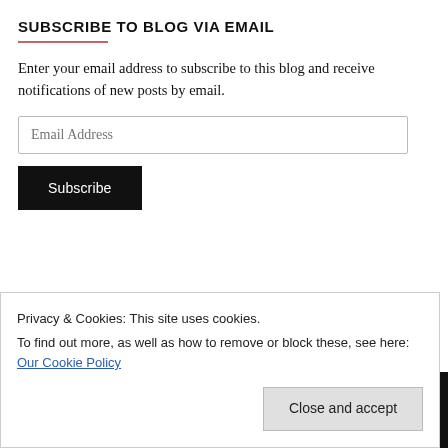SUBSCRIBE TO BLOG VIA EMAIL
Enter your email address to subscribe to this blog and receive notifications of new posts by email.
FACEBOOK   FLICKR   GOOGLE+   INSTAGRAM   LINKEDIN   TWITTER
Privacy & Cookies: This site uses cookies.
To find out more, as well as how to remove or block these, see here: Our Cookie Policy